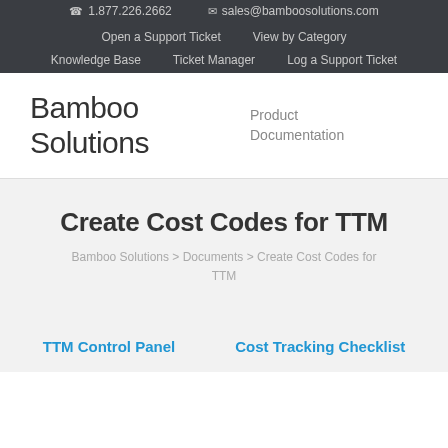☎ 1.877.226.2662   ✉ sales@bamboosolutions.com
Open a Support Ticket   View by Category
Knowledge Base   Ticket Manager   Log a Support Ticket
Bamboo Solutions
Product Documentation
Create Cost Codes for TTM
Bamboo Solutions > Documents > Create Cost Codes for TTM
TTM Control Panel   Cost Tracking Checklist